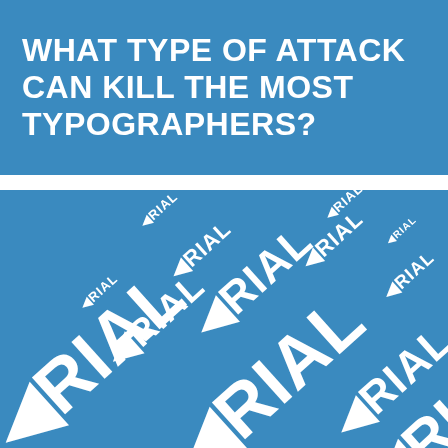WHAT TYPE OF ATTACK CAN KILL THE MOST TYPOGRAPHERS?
[Figure (illustration): Blue background with multiple instances of the word 'ARIAL' (styled with a backwards/flipped A as the first letter) in white, arranged at various angles and sizes, creating a cascading diagonal pattern from small to large text across the image.]